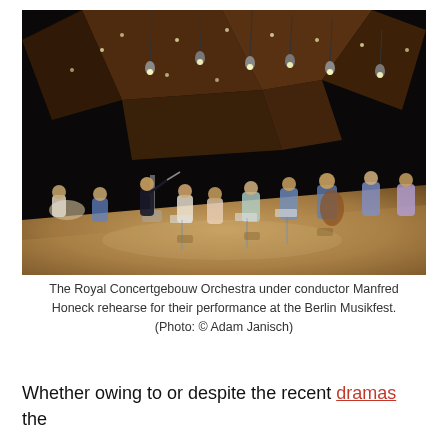[Figure (photo): Orchestra rehearsal photo taken from stage level looking up at the ceiling of a concert hall. A conductor stands at the podium facing the orchestra. Musicians with string instruments, woodwinds and brass are seated. The ceiling features angular wooden acoustic panels with stage lighting rigs and pendant lights against a dark background.]
The Royal Concertgebouw Orchestra under conductor Manfred Honeck rehearse for their performance at the Berlin Musikfest. (Photo: © Adam Janisch)
Whether owing to or despite the recent dramas the